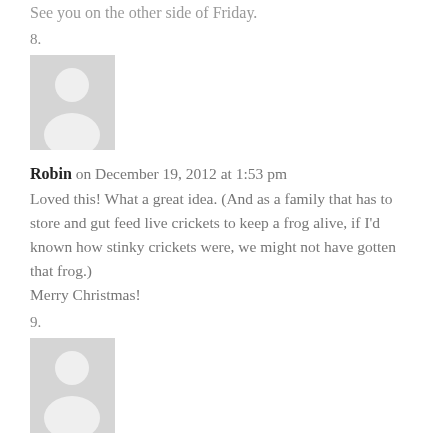See you on the other side of Friday.
8.
[Figure (illustration): Generic user avatar placeholder image - grey background with white silhouette of a person]
Robin on December 19, 2012 at 1:53 pm
Loved this! What a great idea. (And as a family that has to store and gut feed live crickets to keep a frog alive, if I'd known how stinky crickets were, we might not have gotten that frog.)
Merry Christmas!
9.
[Figure (illustration): Generic user avatar placeholder image - grey background with white silhouette of a person]
Linda G. on December 19, 2012 at 2:07